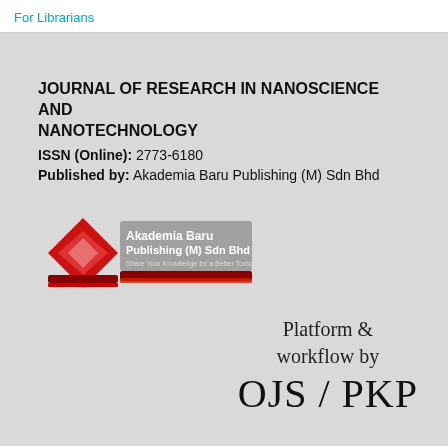For Librarians
JOURNAL OF RESEARCH IN NANOSCIENCE AND NANOTECHNOLOGY
ISSN (Online): 2773-6180
Published by: Akademia Baru Publishing (M) Sdn Bhd
[Figure (logo): Akademia Baru Publishing (M) Sdn Bhd logo with red diamond shape and white text]
Platform & workflow by OJS / PKP